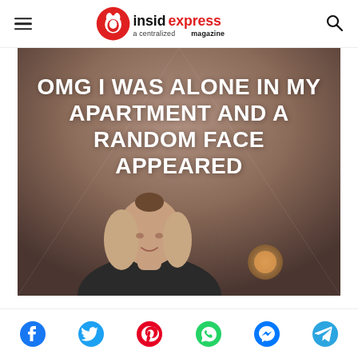insidexpress — a centralized magazine
[Figure (screenshot): Video screenshot of a woman in a dark room with overlaid white bold text reading: OMG I WAS ALONE IN MY APARTMENT AND A RANDOM FACE APPEARED]
Social share buttons: Facebook, Twitter, Pinterest, WhatsApp, Messenger, Telegram